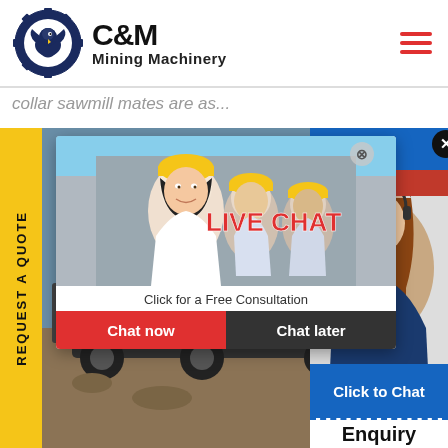[Figure (logo): C&M Mining Machinery logo with eagle in gear circle and bold C&M text with Mining Machinery subtitle]
collar sawmill mates are as...
[Figure (screenshot): Live chat popup overlay showing workers in hard hats, 'LIVE CHAT' red text, 'Click for a Free Consultation' subtitle, Chat now and Chat later buttons. Background shows heavy mining machinery. Right side shows customer service woman with headset, 'Hours' and 'line' text in blue/red panels, 'Click to Chat' blue panel, and 'Enquiry' text strip.]